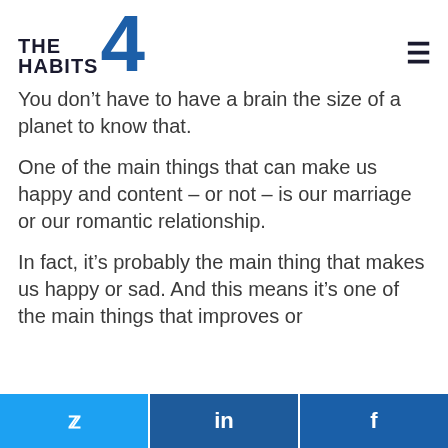[Figure (logo): The 4 Habits logo with large blue number 4 and bold text THE HABITS]
You don’t have to have a brain the size of a planet to know that.
One of the main things that can make us happy and content – or not – is our marriage or our romantic relationship.
In fact, it’s probably the main thing that makes us happy or sad. And this means it’s one of the main things that improves or